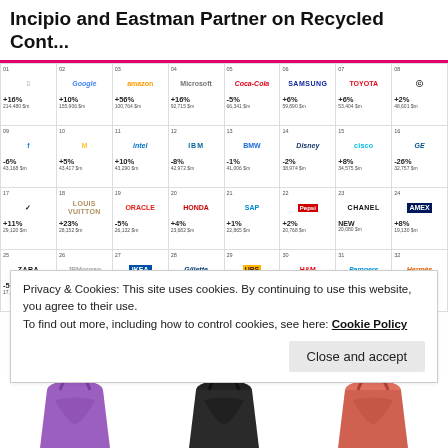Incipio and Eastman Partner on Recycled Cont...
[Figure (infographic): Brand value ranking grid showing top 32 global brands with logos, percentage change, and values. Row 1 (ranks 1-8): Apple +16% 214,480$m, Google +10% 155,906$m, Amazon +56% 100,764$m, Microsoft +16% 92,715$m, Coca-Cola -5% 66,341$m, Samsung +6% 59,890$m, Toyota +6% 53,404$m, Mercedes +2% 48,601$m. Row 2 (ranks 9-16): Facebook -6% 43,168$m, McDonald's +5% 43,417$m, Intel +10% 43,290$m, IBM -8% 42,972$m, BMW -1% 41,006$m, Disney -2% 38,974$m, Cisco +8% 34,575$m, GE -26% 32,757$m. Row 3 (ranks 17-24): Nike +11% 29,120$m, Louis Vuitton +23% 28,152$m, Oracle -5% 26,132$m, Honda +4% 23,682$m, SAP +1% 22,865$m, Pepsi +2% 20,768$m, Chanel NEW 20,080$m, Amex +8% 19,130$m. Row 4 (ranks 25-32): ZARA -5% 17,712$m, JPMorgan +12% 17,567$m, IKEA -5% 17,458$m, Gillette +7% 16,864$m, UPS +3% 16,849$m, H&M -18% 16,638$m, Pampers +1% 15,017$m, Hermès +15% 16,372$m.]
Privacy & Cookies: This site uses cookies. By continuing to use this website, you agree to their use.
To find out more, including how to control cookies, see here: Cookie Policy
Close and accept
[Figure (photo): Three plastic shopping bags in purple, black, and red/coral colors against white background]